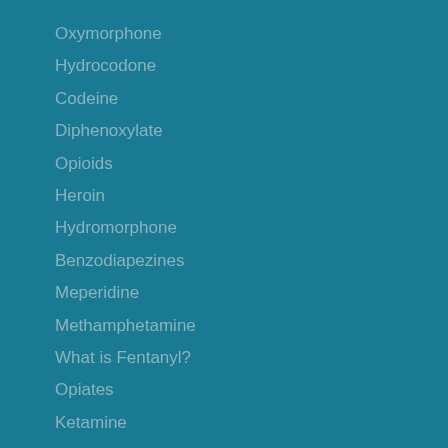Oxymorphone
Hydrocodone
Codeine
Diphenoxylate
Opioids
Heroin
Hydromorphone
Benzodiapezines
Meperidine
Methamphetamine
What is Fentanyl?
Opiates
Ketamine
Morphine